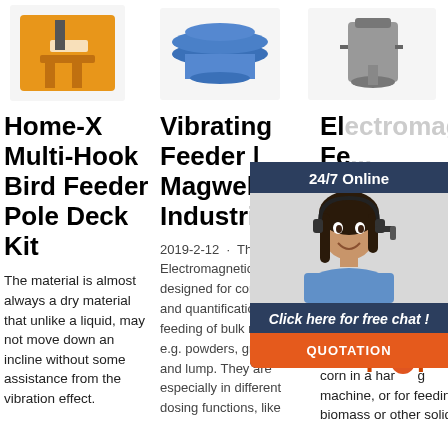[Figure (photo): Three product images at top: orange bird feeder pole kit, blue/silver vibrating feeder, and gray electromagnetic feeder]
Home-X Multi-Hook Bird Feeder Pole Deck Kit
The material is almost always a dry material that unlike a liquid, may not move down an incline without some assistance from the vibration effect.
Vibrating Feeder | Magwell Industries
2019-2-12 · The GZ Electromagnetic feeder is designed for continuous and quantificational feeding of bulk material, e.g. powders, granules and lump. They are especially in different dosing functions, like
Electromagnetic Feeder | Vibrating...
2020... feeder... are ... granules... control... can ... example, for transporting wheat or corn in a harvesting machine, or for feeding biomass or other solid
[Figure (photo): 24/7 Online chat widget overlay with woman wearing headset, 'Click here for free chat!' text, and QUOTATION button]